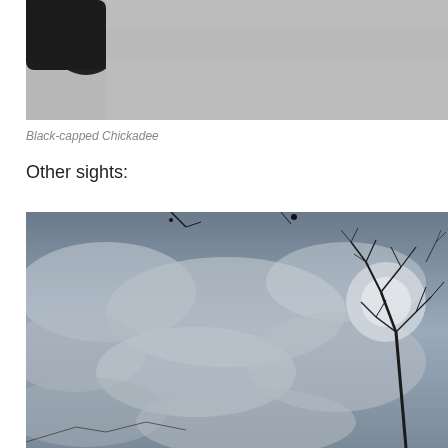[Figure (photo): Partial view of a Black-capped Chickadee bird against a gray sky background, showing dark plumage at the top of the frame]
Black-capped Chickadee
Other sights:
[Figure (photo): Dramatic cloudy sky in black and white with bare tree branches visible on the right side of the frame]